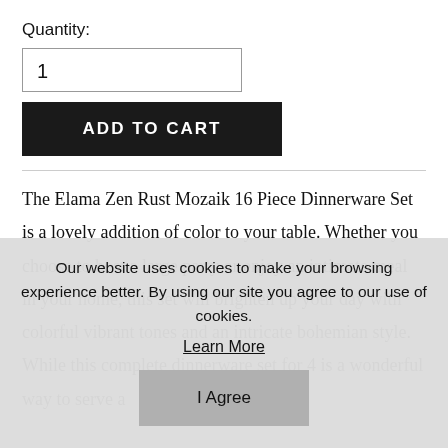Quantity:
1
ADD TO CART
The Elama Zen Rust Mozaik 16 Piece Dinnerware Set is a lovely addition of color to your table. Whether you choose to host a large party or enjoy an intimate meal in your home, this set will brighten up your day with colorful vibrant tones and an intricate bohemian style. While this complete dinnerware set for 4 is a wonderful way to serve a
Our website uses cookies to make your browsing experience better. By using our site you agree to our use of cookies.
Learn More
I Agree